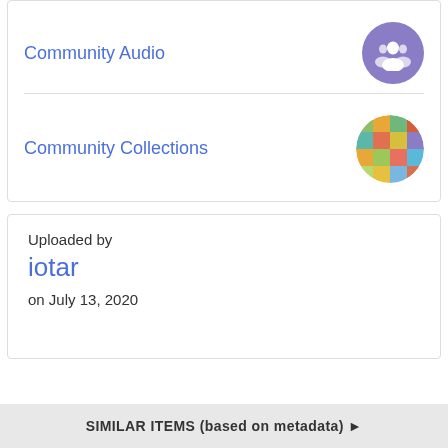Community Audio
[Figure (illustration): Purple circle icon with white group/people silhouette]
Community Collections
[Figure (illustration): Colorful mosaic circle icon with multicolored rectangles]
Uploaded by
iotar
on July 13, 2020
SIMILAR ITEMS (based on metadata) ▶